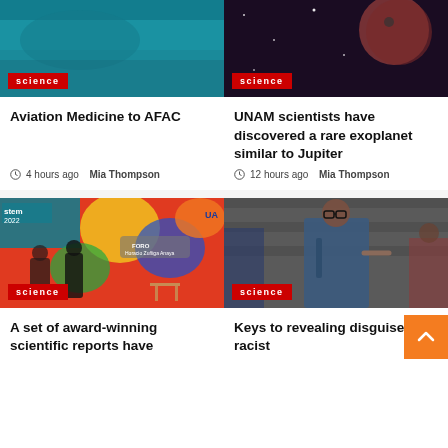[Figure (photo): Teal/blue textured surface with 'science' badge]
[Figure (photo): Dark space/planet image with 'science' badge]
Aviation Medicine to AFAC
4 hours ago  Mia Thompson
UNAM scientists have discovered a rare exoplanet similar to Jupiter
12 hours ago  Mia Thompson
[Figure (photo): Conference/forum event with colorful mural background, people seated, 'science' badge, text: FORO Horacio Zuñiga Anaya, stem 2022]
[Figure (photo): Teenager with glasses and backpack standing in front of peers pointing, 'science' badge]
A set of award-winning scientific reports have
Keys to revealing disguised racist